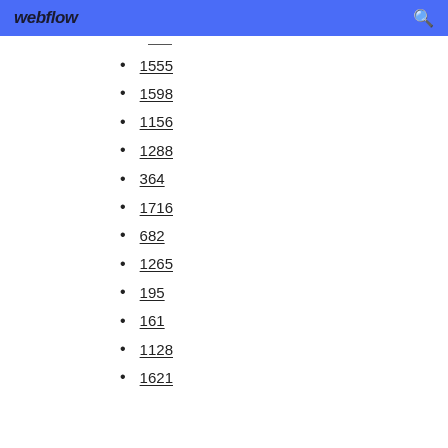webflow [search icon]
1555
1598
1156
1288
364
1716
682
1265
195
161
1128
1621